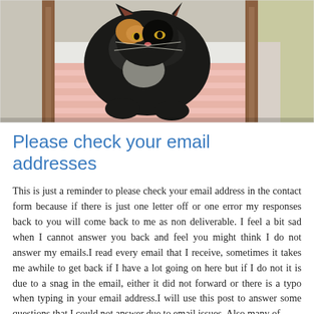[Figure (photo): A black and white cat or dog sitting on a bed with pink and white striped bedding, with wooden furniture visible in the background.]
Please check your email addresses
This is just a reminder to please check your email address in the contact form because if there is just one letter off or one error my responses back to you will come back to me as non deliverable. I feel a bit sad when I cannot answer you back and feel you might think I do not answer my emails.I read every email that I receive, sometimes it takes me awhile to get back if I have a lot going on here but if I do not it is due to a snag in the email, either it did not forward or there is a typo when typing in your email address.I will use this post to answer some questions that I could not answer due to email issues. Also many of